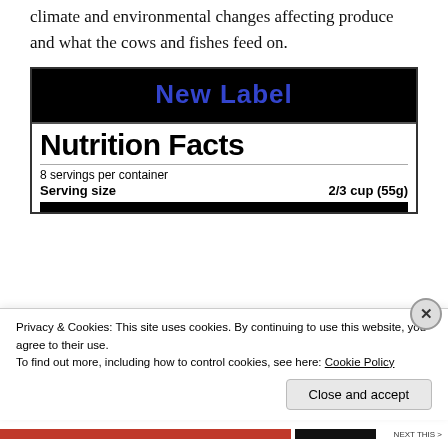climate and environmental changes affecting produce and what the cows and fishes feed on.
[Figure (other): Nutrition Facts label with black header saying 'New Label' in blue bold text, followed by a standard Nutrition Facts panel showing '8 servings per container' and 'Serving size 2/3 cup (55g)', with a thick black bar below.]
Privacy & Cookies: This site uses cookies. By continuing to use this website, you agree to their use.
To find out more, including how to control cookies, see here: Cookie Policy
Close and accept